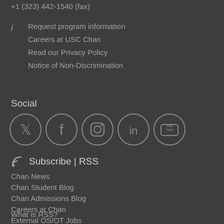+1 (323) 442-1540 (fax)
Request program information
Careers at USC Chan
Read our Privacy Policy
Notice of Non-Discrimination
Social
[Figure (infographic): Five social media icon circles: Twitter, Facebook, Instagram, LinkedIn, YouTube]
Subscribe | RSS
Chan News
Chan Student Blog
Chan Admissions Blog
Careers at Chan
External OS/OT Jobs
What is RSS?